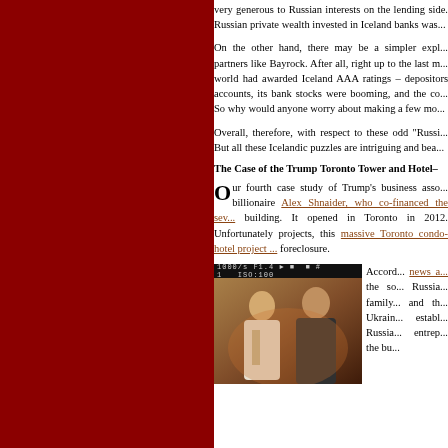very generous to Russian interests on the lending side. Russian private wealth invested in Iceland banks was...
On the other hand, there may be a simpler explanation for partners like Bayrock. After all, right up to the last moment the world had awarded Iceland AAA ratings – depositors poured in accounts, its bank stocks were booming, and the co... So why would anyone worry about making a few mo...
Overall, therefore, with respect to these odd "Russi... But all these Icelandic puzzles are intriguing and bea...
The Case of the Trump Toronto Tower and Hotel–
Our fourth case study of Trump's business asso... billionaire Alex Shnaider, who co-financed the seve... building. It opened in Toronto in 2012. Unfortunately projects, this massive Toronto condo-hotel project ... foreclosure.
[Figure (photo): Photo of two men in suits at what appears to be a groundbreaking ceremony, with a dark camera HUD overlay at the top showing settings like 1000/s F1.4, ISO:100]
Accord... news a... the so... Russia... family... and th... Ukrain... establ... Russia... entrep... the bu...